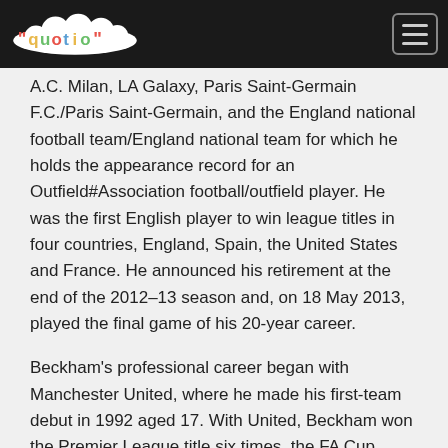quotio [logo] [hamburger menu]
A.C. Milan, LA Galaxy, Paris Saint-Germain F.C./Paris Saint-Germain, and the England national football team/England national team for which he holds the appearance record for an Outfield#Association football/outfield player. He was the first English player to win league titles in four countries, England, Spain, the United States and France. He announced his retirement at the end of the 2012–13 season and, on 18 May 2013, played the final game of his 20-year career.
Beckham's professional career began with Manchester United, where he made his first-team debut in 1992 aged 17. With United, Beckham won the Premier League title six times, the FA Cup twice, and the UEFA Champions League in 1999. He then played four seasons with Real Madrid, where he also achieved considerable fame.